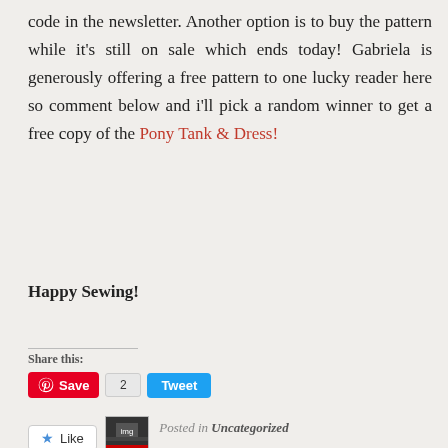code in the newsletter. Another option is to buy the pattern while it's still on sale which ends today! Gabriela is generously offering a free pattern to one lucky reader here so comment below and i'll pick a random winner to get a free copy of the Pony Tank & Dress!
Happy Sewing!
Share this:
[Figure (screenshot): Share buttons: Pinterest Save button (red), count badge showing 2, and Tweet button (blue)]
[Figure (screenshot): Like button with star icon and blogger thumbnail image]
One blogger likes this.
Posted in Uncategorized